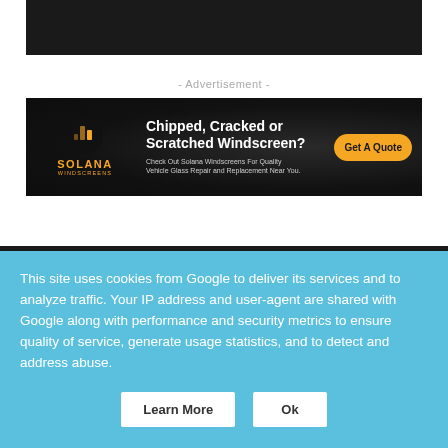[Figure (photo): Dark background image with an orange bar at the top, partially cropped at the top of the page]
- Advertisement -
[Figure (infographic): Solana Windscreens advertisement banner on dark background. Logo with orange building icon and 'SOLANA WINDSCREENS' text. Headline: 'Chipped, Cracked or Scratched Windscreen?'. Subtext: 'Check Out Solana Windscreens For Quality Vehicle Glass Repair and Replacement Near You.' Orange 'Get A Quote' button.]
This site uses cookies from Google to deliver its services and to analyze traffic. Your IP address and user-agent are shared with Google along with performance and security metrics to ensure quality of service, generate usage statistics, and to detect and address abuse.
Learn More
Ok